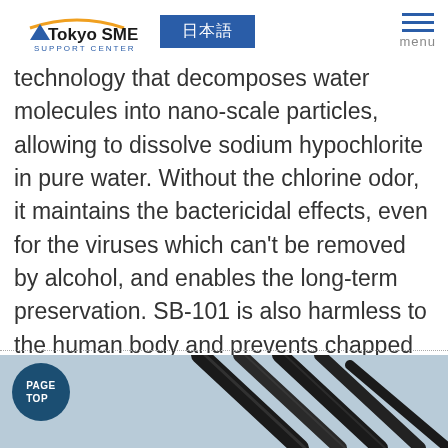Tokyo SME Support Center | 日本語 | menu
technology that decomposes water molecules into nano-scale particles, allowing to dissolve sodium hypochlorite in pure water. Without the chlorine odor, it maintains the bactericidal effects, even for the viruses which can't be removed by alcohol, and enables the long-term preservation. SB-101 is also harmless to the human body and prevents chapped hands.
[Figure (photo): Photo of needle-like metallic objects on a blue-grey background, with a 'PAGE TOP' circular button overlay]